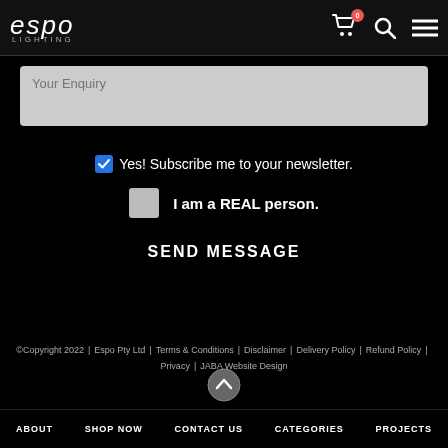espo LIGHTING
Your Enquiry
Yes! Subscribe me to your newsletter.
I am a REAL person.
SEND MESSAGE
©Copyright 2022 | Espo Pty Ltd | Terms & Conditions | Disclaimer | Delivery Policy | Refund Policy | Privacy | JABA Website Design
ABOUT  SHOP NOW  CONTACT US  CATEGORIES  PROJECTS